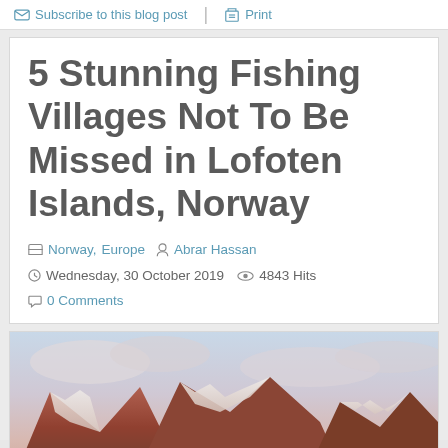Subscribe to this blog post   Print
5 Stunning Fishing Villages Not To Be Missed in Lofoten Islands, Norway
Norway,  Europe   Abrar Hassan
Wednesday, 30 October 2019   4843 Hits
0 Comments
[Figure (photo): Mountain landscape photo showing snow-capped rocky peaks with pink and orange hues under a cloudy sky, likely Lofoten Islands, Norway]